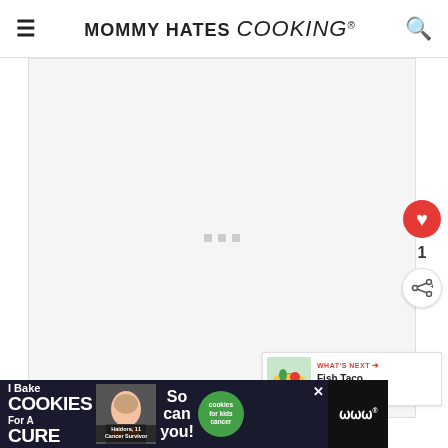MOMMY HATES cooking®
[Figure (other): Embedded video/media placeholder with loading dots, shown in light gray box]
[Figure (other): Red heart/like button (count: 1) and share button on right side of content]
[Figure (other): WHAT'S NEXT widget showing Fish Taco Tuesday with thumbnail]
NUTRITION
[Figure (other): Advertisement banner: I Bake COOKIES For A CURE — Haidora, 11 Cancer Survivor — So can you! — cookies for kids cancer]